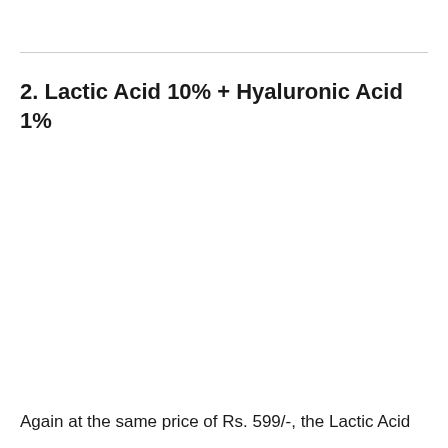2. Lactic Acid 10% + Hyaluronic Acid 1%
Again at the same price of Rs. 599/-, the Lactic Acid